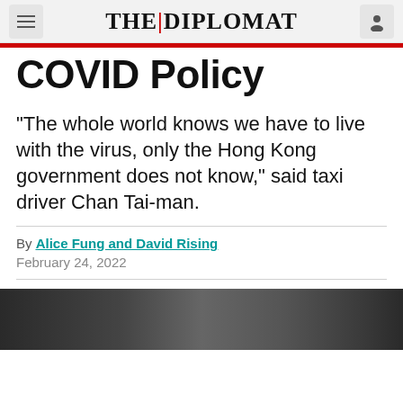THE DIPLOMAT
COVID Policy
“The whole world knows we have to live with the virus, only the Hong Kong government does not know,” said taxi driver Chan Tai-man.
By Alice Fung and David Rising
February 24, 2022
[Figure (photo): Photo strip showing one or more people, partially visible at the bottom of the page]